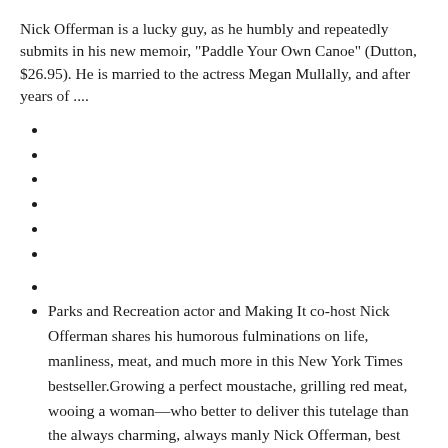Nick Offerman is a lucky guy, as he humbly and repeatedly submits in his new memoir, "Paddle Your Own Canoe" (Dutton, $26.95). He is married to the actress Megan Mullally, and after years of ....
Parks and Recreation&#160;actor and Making It co-host Nick Offerman shares his humorous fulminations on life, manliness, meat, and much more in this New York Times bestseller.Growing a perfect moustache, grilling red meat, wooing a woman&mdash;who better to deliver this tutelage than the always charming, always manly Nick Offerman, best known as&#160;Parks and Recreation&rsquo;s Ron Swanson ...
Combining his trademark comic voice and very real expertise in woodworking—he runs his own woodshop—Paddle Your Own Canoe features tales from Offerman's